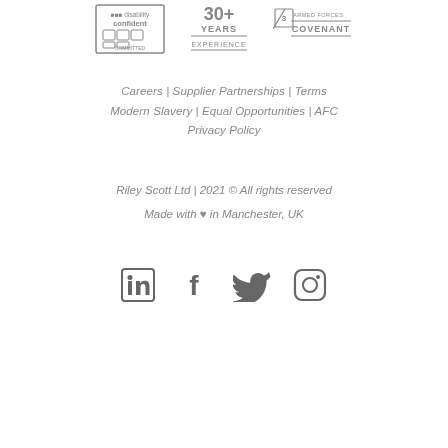[Figure (logo): Three certification logos: Disability Confident Committed, Years of Experience (30+), and Armed Forces Covenant]
Careers | Supplier Partnerships | Terms Modern Slavery | Equal Opportunities | AFC Privacy Policy
Riley Scott Ltd | 2021 © All rights reserved
Made with ♥ in Manchester, UK
[Figure (other): Social media icons: LinkedIn, Facebook, Twitter, Instagram]